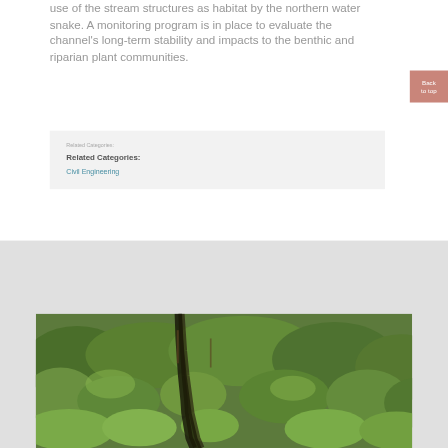use of the stream structures as habitat by the northern water snake. A monitoring program is in place to evaluate the channel's long-term stability and impacts to the benthic and riparian plant communities.
Back to top
Related Categories:
Civil Engineering
[Figure (photo): Aerial or elevated view of a narrow stream or drainage channel winding through dense green vegetation and shrubs, surrounded by lush riparian plant communities.]